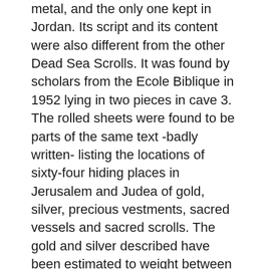metal, and the only one kept in Jordan. Its script and its content were also different from the other Dead Sea Scrolls. It was found by scholars from the Ecole Biblique in 1952 lying in two pieces in cave 3. The rolled sheets were found to be parts of the same text -badly written- listing the locations of sixty-four hiding places in Jerusalem and Judea of gold, silver, precious vestments, sacred vessels and sacred scrolls. The gold and silver described have been estimated to weight between sixty and two hundred tons. There was no indication where this treasure came from. Some scholars believe that it is linked to the treasure of the Jerusalem Temple although it has always been thought that the Qumrân community had nothing to do with it.
The first Jerusalem Temple was taken over, together with Palestine, by the Babylonians in 586 BC, and its priests were send to exile. When Babylon was taken over by Persia, some priests were allowed to come back to Jerusalem and they have re-established the power of...